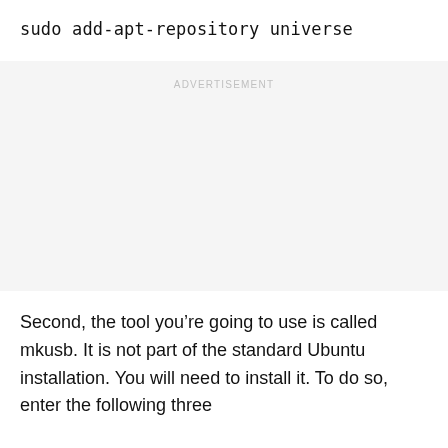sudo add-apt-repository universe
ADVERTISEMENT
Second, the tool you’re going to use is called mkusb. It is not part of the standard Ubuntu installation. You will need to install it. To do so, enter the following three